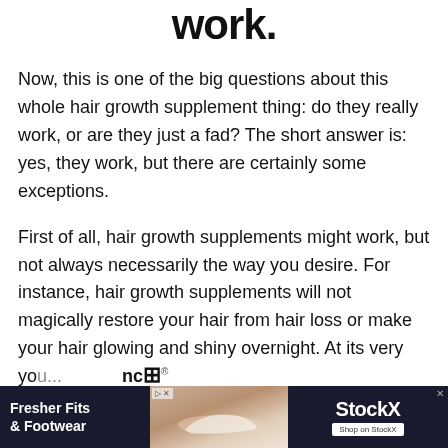work.
Now, this is one of the big questions about this whole hair growth supplement thing: do they really work, or are they just a fad? The short answer is: yes, they work, but there are certainly some exceptions.
First of all, hair growth supplements might work, but not always necessarily the way you desire. For instance, hair growth supplements will not magically restore your hair from hair loss or make your hair glowing and shiny overnight. At its very best, hair growth supplements aid in promoting and improving you...
[Figure (other): Advertisement banner at the bottom showing 'Fresher Fits & Footwear' on the left, a shoe product image in the middle, and StockX branding on the right with close button.]